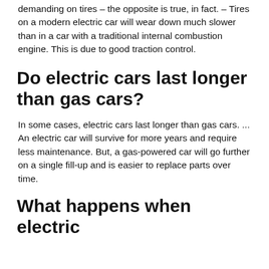demanding on tires – the opposite is true, in fact. – Tires on a modern electric car will wear down much slower than in a car with a traditional internal combustion engine. This is due to good traction control.
Do electric cars last longer than gas cars?
In some cases, electric cars last longer than gas cars. ... An electric car will survive for more years and require less maintenance. But, a gas-powered car will go further on a single fill-up and is easier to replace parts over time.
What happens when electric